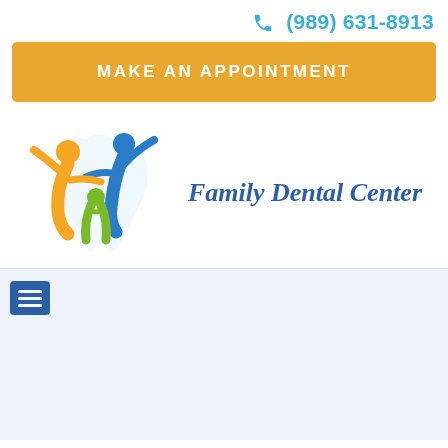(989) 631-8913
MAKE AN APPOINTMENT
[Figure (logo): Family Dental Center logo with colorful human figures and tooth shape, with text 'Family Dental Center']
[Figure (other): Navigation menu icon (hamburger menu) in blue square, lower section of page with light blue background]